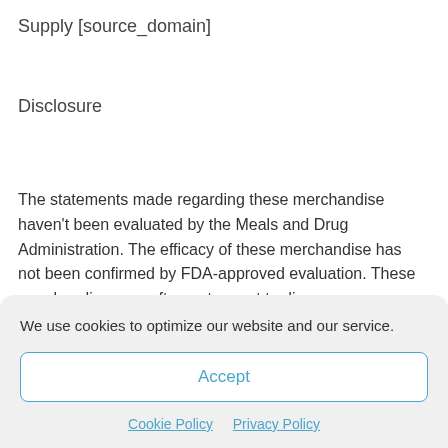Supply [source_domain]
Disclosure
The statements made regarding these merchandise haven’t been evaluated by the Meals and Drug Administration. The efficacy of these merchandise has not been confirmed by FDA-approved evaluation. These merchandises are often not meant to diagnose, cope with, treatment, or forestall any
We use cookies to optimize our website and our service.
Accept
Cookie Policy   Privacy Policy